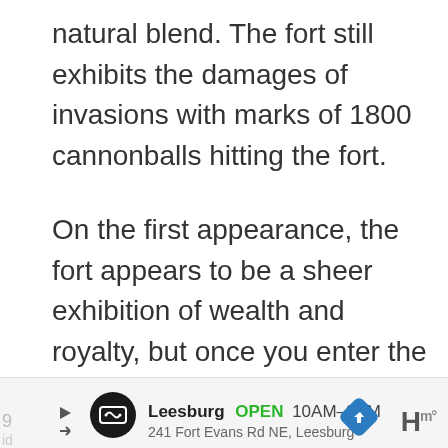natural blend. The fort still exhibits the damages of invasions with marks of 1800 cannonballs hitting the fort.
On the first appearance, the fort appears to be a sheer exhibition of wealth and royalty, but once you enter the fort, it's quite literally a walk back to the time of the Rajputana Dynasty, with each section exhibiting the royalty and heritage of its glorious times.
[Figure (other): Advertisement bar showing Leesburg store: OPEN 10AM-9PM, 241 Fort Evans Rd NE, Leesburg, with navigation arrow icon and hotel icon]